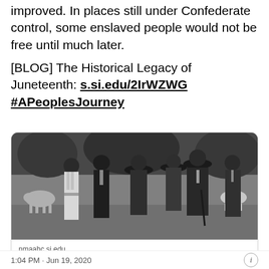improved. In places still under Confederate control, some enslaved people would not be free until much later.
[BLOG] The Historical Legacy of Juneteenth: s.si.edu/2IrWZWG #APeoplesJourney
[Figure (photo): Black and white historical photograph of a group of African American people standing together outdoors, some holding hats, one holding a cane, with trees and animals visible in the background.]
nmaahc.si.edu
The Historical Legacy of Juneteenth
1:04 PM · Jun 19, 2020